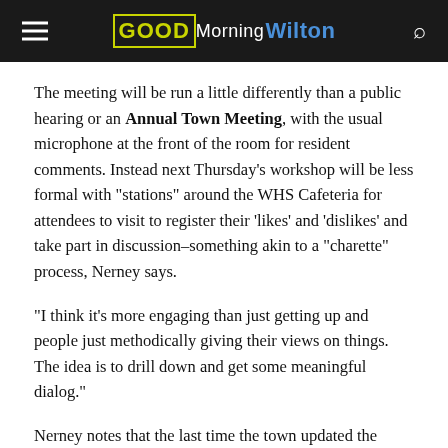Good Morning Wilton
The meeting will be run a little differently than a public hearing or an Annual Town Meeting, with the usual microphone at the front of the room for resident comments. Instead next Thursday’s workshop will be less formal with “stations” around the WHS Cafeteria for attendees to visit to register their ‘likes’ and ‘dislikes’ and take part in discussion–something akin to a “charette” process, Nerney says.
“I think it’s more engaging than just getting up and people just methodically giving their views on things. The idea is to drill down and get some meaningful dialog.”
Nerney notes that the last time the town updated the POCD, turnout was good–at least a couple hundred came to that